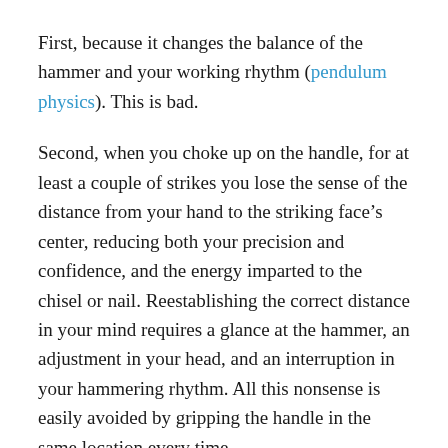First, because it changes the balance of the hammer and your working rhythm (pendulum physics). This is bad.
Second, when you choke up on the handle, for at least a couple of strikes you lose the sense of the distance from your hand to the striking face’s center, reducing both your precision and confidence, and the energy imparted to the chisel or nail. Reestablishing the correct distance in your mind requires a glance at the hammer, an adjustment in your head, and an interruption in your hammering rhythm. All this nonsense is easily avoided by gripping the handle in the same location every time.
You have basically designed most of the grip’s details when you set the butt’s shape and dimensions, and the location of your palm’s heel, index finger, and pinkie